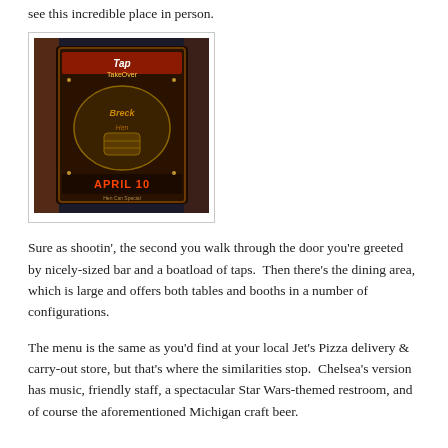see this incredible place in person.
[Figure (photo): A promotional poster or chalkboard sign reading 'Tap Takeover' with 'April 10' and 'Hen Can Special' in decorative lettering, displayed at what appears to be a bar.]
Sure as shootin', the second you walk through the door you're greeted by nicely-sized bar and a boatload of taps.  Then there's the dining area, which is large and offers both tables and booths in a number of configurations.
The menu is the same as you'd find at your local Jet's Pizza delivery & carry-out store, but that's where the similarities stop.  Chelsea's version has music, friendly staff, a spectacular Star Wars-themed restroom, and of course the aforementioned Michigan craft beer.